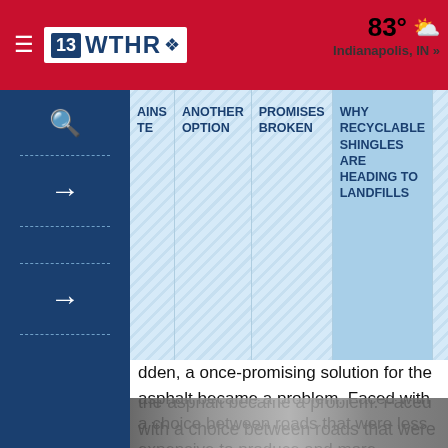13 WTHR NBC — 83° Indianapolis, IN »
AINS TE | ANOTHER OPTION | PROMISES BROKEN | WHY RECYCLABLE SHINGLES ARE HEADING TO LANDFILLS
dden, a once-promising solution for the asphalt became a problem. Faced with a choice between roads that were less expensive to produce and more mentally friendly or roads that had fewer potholes ed longer, the choice was clear.
in 2015, paving companies and state transportation ments began reducing the amount of RAS allowed in phalt mixtures, prompting what Willis calls a tous drop" in the amount of recycled shingles used ide.